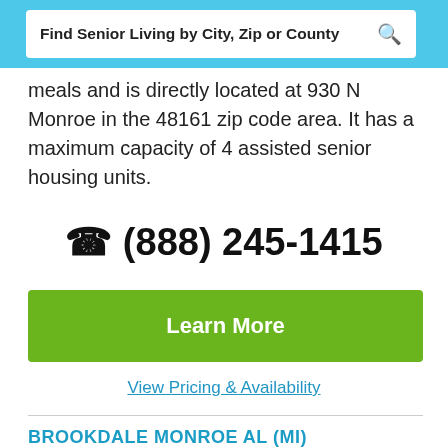Find Senior Living by City, Zip or County
meals and is directly located at 930 N Monroe in the 48161 zip code area. It has a maximum capacity of 4 assisted senior housing units.
(888) 245-1415
Learn More
View Pricing & Availability
BROOKDALE MONROE AL (MI)
Brookdale Monroe Al mi is an elderly care and